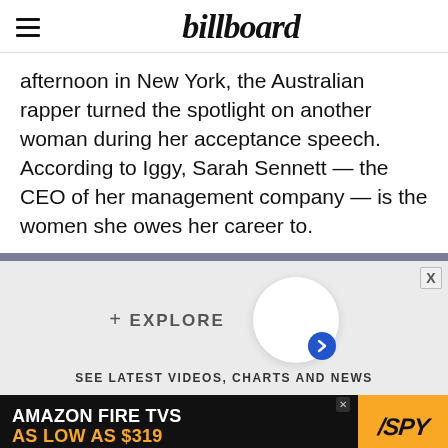billboard
afternoon in New York, the Australian rapper turned the spotlight on another woman during her acceptance speech. According to Iggy, Sarah Sennett — the CEO of her management company — is the women she owes her career to.
[Figure (infographic): Explore section with circular button and chevron arrow badge, label '+ EXPLORE', subtitle 'SEE LATEST VIDEOS, CHARTS AND NEWS']
[Figure (infographic): Amazon Fire TVs advertisement banner: 'AMAZON FIRE TVS AS LOW AS $319' with SPY logo on yellow background]